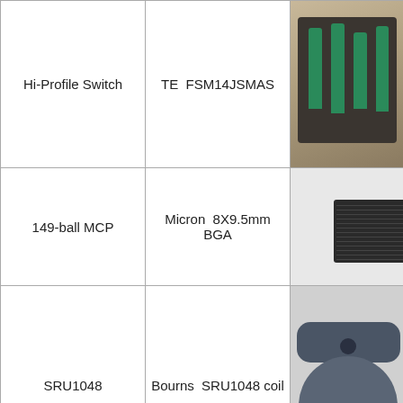| Component | Part Number | Image |
| --- | --- | --- |
| Hi-Profile Switch | TE  FSM14JSMAS | [photo] |
| 149-ball MCP | Micron  8X9.5mm BGA | [photo] |
| SRU1048 | Bourns  SRU1048 coil | [photo] |
|  |  |  |